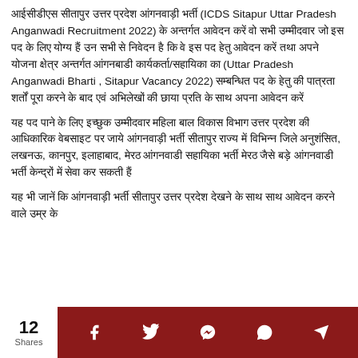आईसीडीएस सीतापुर उत्तर प्रदेश आंगनवाड़ी भर्ती (ICDS Sitapur Uttar Pradesh Anganwadi Recruitment 2022) के अन्तर्गत आवेदन करें वो सभी उम्मीदवार जो इस पद के लिए योग्य हैं उन सभी से निवेदन है कि वे इस पद हेतु आवेदन करें तथा अपने योजना क्षेत्र अन्तर्गत आंगनबाडी कार्यकर्ता/सहायिका का (Uttar Pradesh Anganwadi Bharti , Sitapur Vacancy 2022) सम्बन्धित पद के हेतु की पात्रता शर्तों पूरा करने के बाद एवं अभिलेखों की छाया प्रति के साथ अपना आवेदन करें
यह पद पाने के लिए इच्छुक उम्मीदवार महिला बाल विकास विभाग उत्तर प्रदेश की आधिकारिक वेबसाइट पर जाये आंगनवाड़ी भर्ती सीतापुर राज्य में विभिन्न जिले अनुशंसित, लखनऊ, कानपुर, इलाहाबाद, मेरठ आंगनवाडी सहायिका भर्ती मेरठ जैसे बड़े आंगनवाडी भर्ती केन्द्रों में सेवा कर सकती हैं
यह भी जानें कि आंगनवाड़ी भर्ती सीतापुर उत्तर प्रदेश देखने के साथ साथ आवेदन करने वाले उम्र के
12 Shares  f  t  messenger  whatsapp  telegram